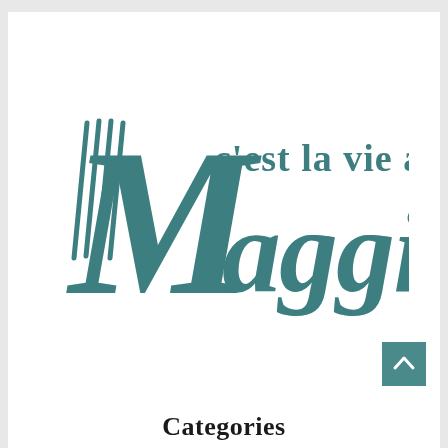[Figure (logo): Maggi brand logo reading 'c'est la vie a Maggi' in teal/dark cyan color with a stylized fork integrated into the letter M]
Categories